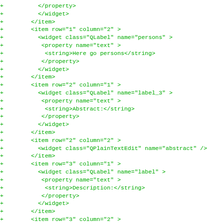Code diff showing XML widget layout with items, widgets, and properties including persons, label_3 (Abstract:), abstract QPlainTextEdit, label (Description:), and description QPlainTextEdit.